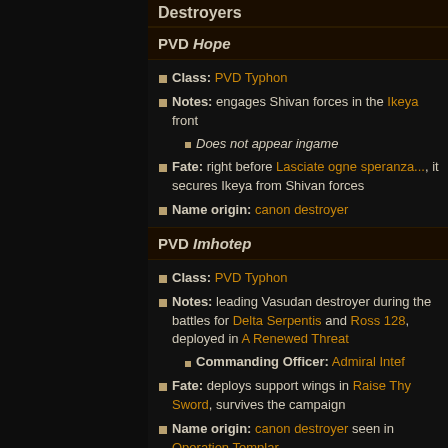Destroyers
PVD Hope
Class: PVD Typhon
Notes: engages Shivan forces in the Ikeya front
Does not appear ingame
Fate: right before Lasciate ogne speranza..., it secures Ikeya from Shivan forces
Name origin: canon destroyer
PVD Imhotep
Class: PVD Typhon
Notes: leading Vasudan destroyer during the battles for Delta Serpentis and Ross 128, deployed in A Renewed Threat
Commanding Officer: Admiral Intef
Fate: deploys support wings in Raise Thy Sword, survives the campaign
Name origin: canon destroyer seen in Operation Templar
PVD Men-Nefer